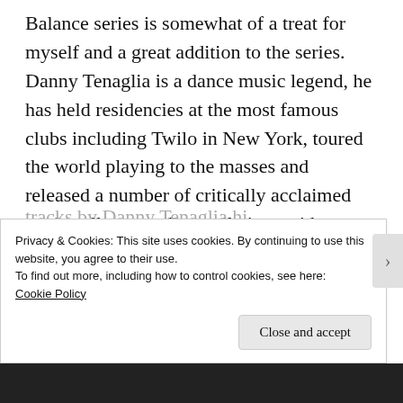Balance series is somewhat of a treat for myself and a great addition to the series. Danny Tenaglia is a dance music legend, he has held residencies at the most famous clubs including Twilo in New York, toured the world playing to the masses and released a number of critically acclaimed tracks, albums and compilations without over saturating the market with quantity over quality. TBC have been fans for sometime and some of our favourite classics
Privacy & Cookies: This site uses cookies. By continuing to use this website, you agree to their use.
To find out more, including how to control cookies, see here:
Cookie Policy
Close and accept